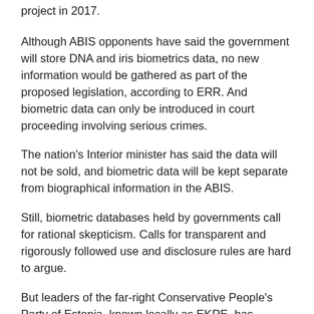project in 2017.
Although ABIS opponents have said the government will store DNA and iris biometrics data, no new information would be gathered as part of the proposed legislation, according to ERR. And biometric data can only be introduced in court proceeding involving serious crimes.
The nation's Interior minister has said the data will not be sold, and biometric data will be kept separate from biographical information in the ABIS.
Still, biometric databases held by governments call for rational skepticism. Calls for transparent and rigorously followed use and disclosure rules are hard to argue.
But leaders of the far-right Conservative People's Party of Estonia, known locally as EKRE, has promised to use every procedural tactic to prevent any bill before the parliament — from being voted on until the ABIS legislation is killed.
Even though the information in question has been collected openly for years, an EKRE member of parliament and former IT minister